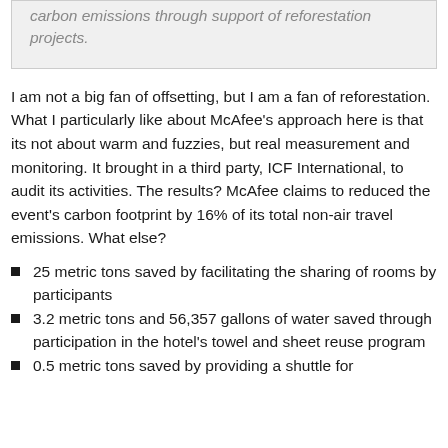carbon emissions through support of reforestation projects.
I am not a big fan of offsetting, but I am a fan of reforestation. What I particularly like about McAfee's approach here is that its not about warm and fuzzies, but real measurement and monitoring. It brought in a third party, ICF International, to audit its activities. The results? McAfee claims to reduced the event's carbon footprint by 16% of its total non-air travel emissions. What else?
25 metric tons saved by facilitating the sharing of rooms by participants
3.2 metric tons and 56,357 gallons of water saved through participation in the hotel's towel and sheet reuse program
0.5 metric tons saved by providing a shuttle for